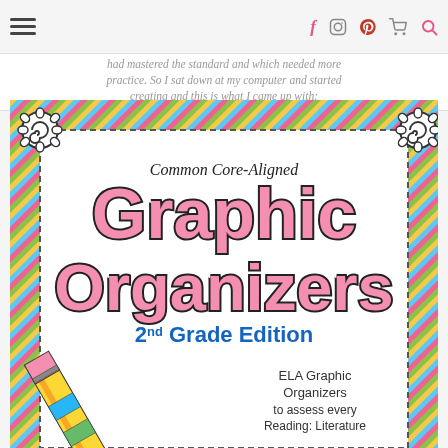Navigation header with hamburger menu and social icons (Facebook, Instagram, Pinterest, Cart, Search)
had mastered the standard and which needed more practice. So I sat down at my computer and started creating and this is what I came up with:
[Figure (illustration): Book cover for Common Core-Aligned Graphic Organizers 2nd Grade Edition with colorful diagonal stripe border, spiral corner decorations, large pink text, and a pencil illustration. Bottom right text reads: ELA Graphic Organizers to assess every Reading: Literature]